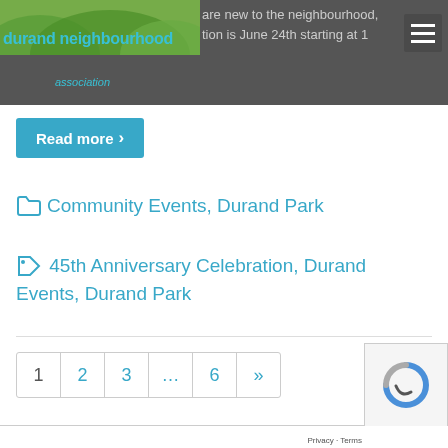durand neighbourhood association — are new to the neighbourhood, …tion is June 24th starting at 1…
Read more ›
Community Events, Durand Park
45th Anniversary Celebration, Durand Events, Durand Park
1 2 3 … 6 »